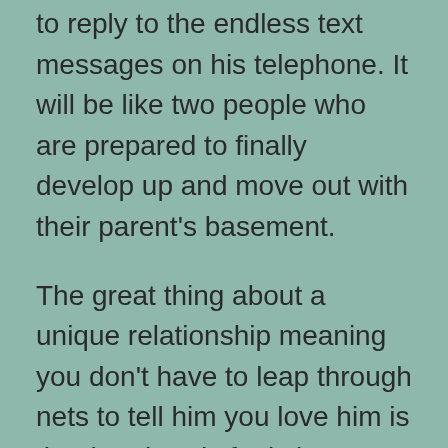to reply to the endless text messages on his telephone. It will be like two people who are prepared to finally develop up and move out with their parent's basement.
The great thing about a unique relationship meaning you don't have to leap through nets to tell him you love him is that he already feels it. You can simply open up the conversation by casually mentioning how curious about been considering getting back together. The guy will be glad to hear that since casual internet dating isn't because a challenge to him and he'll always be eager to reciprocate the